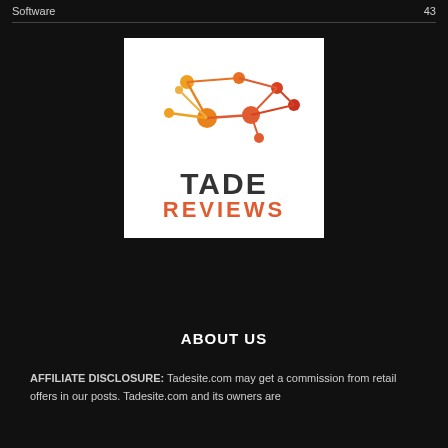Software  43
[Figure (logo): Tade Reviews logo: network graph icon in orange gradient above bold text 'TADE' in dark gray and 'REVIEWS' in orange-red, on white background]
ABOUT US
AFFILIATE DISCLOSURE: Tadesite.com may get a commission from retail offers in our posts. Tadesite.com and its owners are